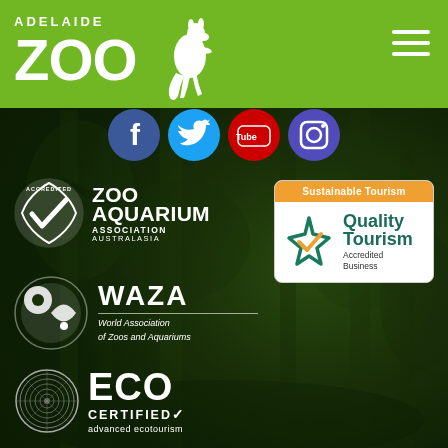[Figure (logo): Adelaide Zoo logo with kangaroo silhouette on green header bar]
[Figure (illustration): Social media icons: Facebook, Twitter, YouTube, Instagram]
[Figure (logo): Zoo Aquarium Association Australasia accredited badge with checkmark]
[Figure (logo): Quality Tourism Accredited Business badge with star logo and orange header]
[Figure (logo): WAZA - World Association of Zoos and Aquariums logo]
[Figure (logo): ECO Certified advanced ecotourism logo]